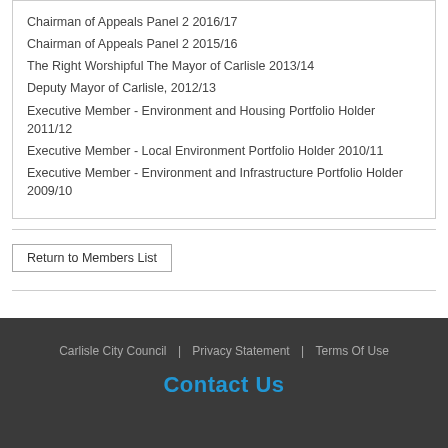Chairman of Appeals Panel 2 2016/17
Chairman of Appeals Panel 2 2015/16
The Right Worshipful The Mayor of Carlisle 2013/14
Deputy Mayor of Carlisle, 2012/13
Executive Member - Environment and Housing Portfolio Holder 2011/12
Executive Member - Local Environment Portfolio Holder 2010/11
Executive Member - Environment and Infrastructure Portfolio Holder 2009/10
Return to Members List
Carlisle City Council | Privacy Statement | Terms Of Use
Contact Us